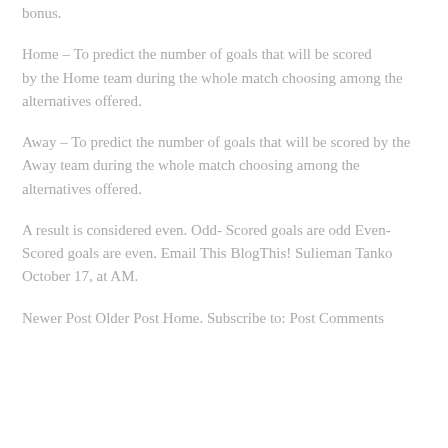bonus.
Home – To predict the number of goals that will be scored by the Home team during the whole match choosing among the alternatives offered.
Away – To predict the number of goals that will be scored by the Away team during the whole match choosing among the alternatives offered.
A result is considered even. Odd- Scored goals are odd Even- Scored goals are even. Email This BlogThis! Sulieman Tanko October 17, at AM.
Newer Post Older Post Home. Subscribe to: Post Comments